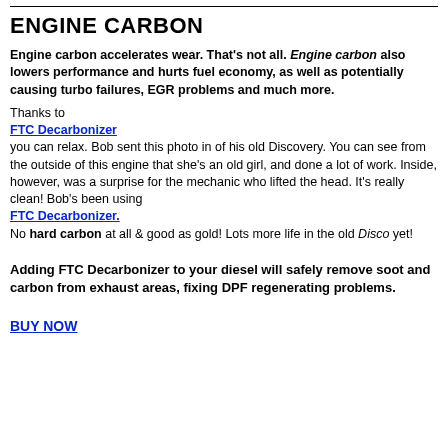ENGINE CARBON
Engine carbon accelerates wear. That's not all. Engine carbon also lowers performance and hurts fuel economy, as well as potentially causing turbo failures, EGR problems and much more.
Thanks to FTC Decarbonizer you can relax. Bob sent this photo in of his old Discovery. You can see from the outside of this engine that she's an old girl, and done a lot of work. Inside, however, was a surprise for the mechanic who lifted the head. It's really clean! Bob's been using FTC Decarbonizer. No hard carbon at all & good as gold! Lots more life in the old Disco yet!
Adding FTC Decarbonizer to your diesel will safely remove soot and carbon from exhaust areas, fixing DPF regenerating problems.
BUY NOW